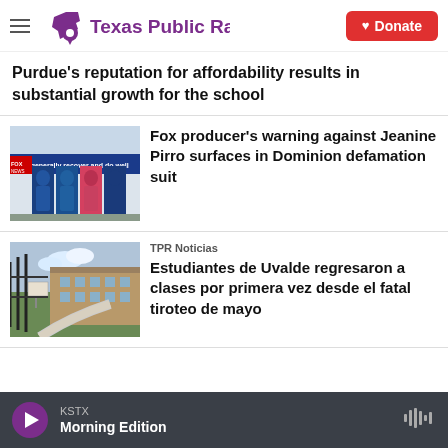Texas Public Radio — Donate
Purdue's reputation for affordability results in substantial growth for the school
[Figure (photo): Fox News building exterior with host banners showing text 'ation generally recover and do well']
Fox producer's warning against Jeanine Pirro surfaces in Dominion defamation suit
TPR Noticias
[Figure (photo): School building exterior seen through a black iron fence with a curved walkway leading to the entrance]
Estudiantes de Uvalde regresaron a clases por primera vez desde el fatal tiroteo de mayo
KSTX — Morning Edition